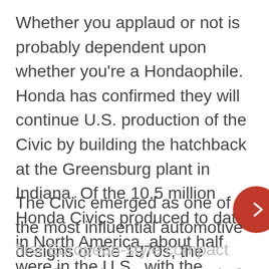Whether you applaud or not is probably dependent upon whether you're a Hondaophile. Honda has confirmed they will continue U.S. production of the Civic by building the hatchback at the Greensburg plant in Indiana. Of the 10.5 million Honda Civics produced to date in North America, about half were in the U.S., with the remainder in Ontario, Canada.
The Civic emerged as one of the most influential automotive designs of the 1970s, the first European-style compact car offered in Japan, a level of sophistication never before...